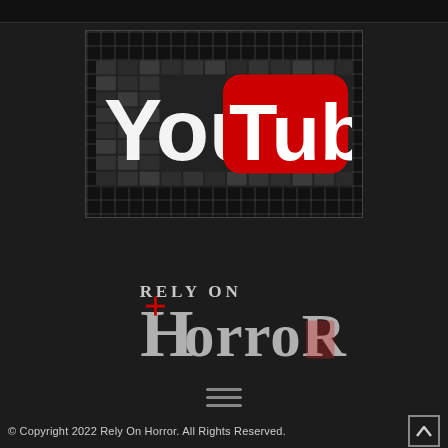[Figure (logo): YouTube logo on dark mosaic brick background inside a bordered frame]
[Figure (logo): Rely On Horror website logo in gothic/horror styled text]
[Figure (other): Hamburger menu icon (three horizontal lines)]
© Copyright 2022 Rely On Horror. All Rights Reserved.